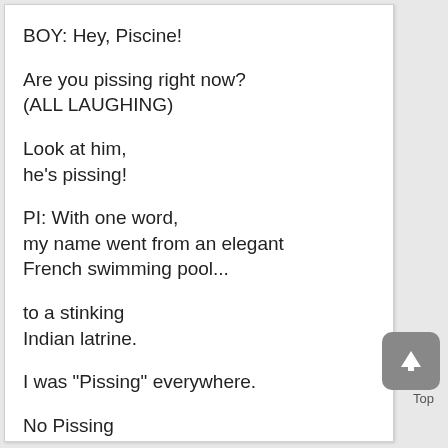BOY: Hey, Piscine!
Are you pissing right now?
(ALL LAUGHING)
Look at him,
he's pissing!
PI: With one word,
my name went from an elegant
French swimming pool...
to a stinking
Indian latrine.
I was "Pissing" everywhere.
No Pissing
in the schoolyard!
(KIDS LAUGHING)
PI: Even the teachers